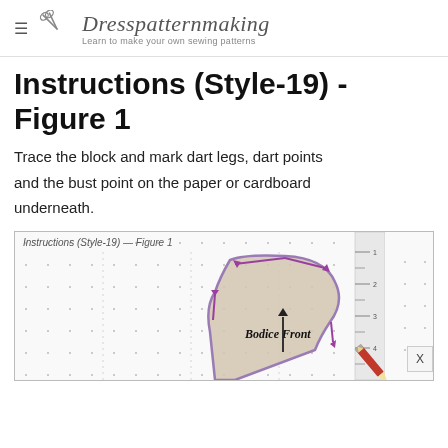Dresspatternmaking — Learn to make your own sewing patterns
Instructions (Style-19) - Figure 1
Trace the block and mark dart legs, dart points and the bust point on the paper or cardboard underneath.
[Figure (illustration): Sewing pattern diagram labeled 'Instructions (Style-19) - Figure 1' showing a Bodice Front pattern piece on dotted grid paper with purple arrows indicating dart legs and a ruler along the right edge. A pencil is visible in the lower right corner.]